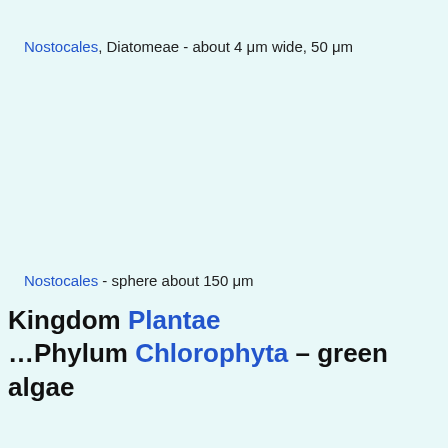Nostocales, Diatomeae - about 4 μm wide, 50 μm
Nostocales - sphere about 150 μm
Kingdom Plantae …Phylum Chlorophyta – green algae